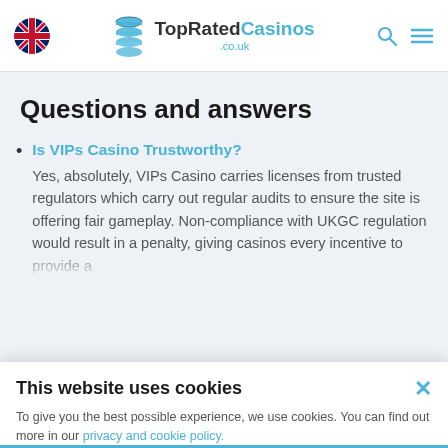TopRatedCasinos .co.uk
Questions and answers
Is VIPs Casino Trustworthy? Yes, absolutely, VIPs Casino carries licenses from trusted regulators which carry out regular audits to ensure the site is offering fair gameplay. Non-compliance with UKGC regulation would result in a penalty, giving casinos every incentive to provide a...
This website uses cookies
To give you the best possible experience, we use cookies. You can find out more in our privacy and cookie policy.
Close